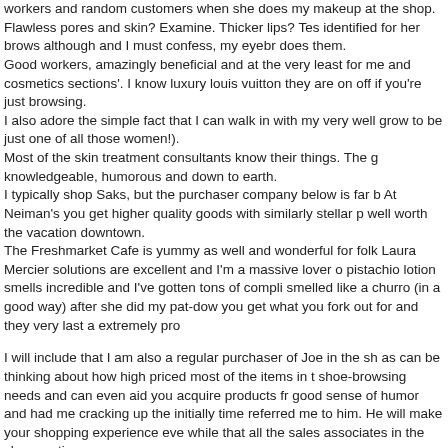workers and random customers when she does my makeup at the shop. Flawless pores and skin? Examine. Thicker lips? Tes identified for her brows although and I must confess, my eyebr does them. Good workers, amazingly beneficial and at the very least for me and cosmetics sections'. I know luxury louis vuitton they are on off if you're just browsing. I also adore the simple fact that I can walk in with my very well grow to be just one of all those women!). Most of the skin treatment consultants know their things. The g knowledgeable, humorous and down to earth. I typically shop Saks, but the purchaser company below is far b At Neiman's you get higher quality goods with similarly stellar p well worth the vacation downtown. The Freshmarket Cafe is yummy as well and wonderful for folk Laura Mercier solutions are excellent and I'm a massive lover o pistachio lotion smells incredible and I've gotten tons of compli smelled like a churro (in a good way) after she did my pat-dow you get what you fork out for and they very last a extremely pro I will include that I am also a regular purchaser of Joe in the sh as can be thinking about how high priced most of the items in t shoe-browsing needs and can even aid you acquire products fr good sense of humor and had me cracking up the initially time referred me to him. He will make your shopping experience ev while that all the sales associates in the shoe section are spee Just one additional factor I want to include: I would absolutely s even if you do not approach on executing any shopping in the s Union Square and their popovers and lobster au gratin are ama